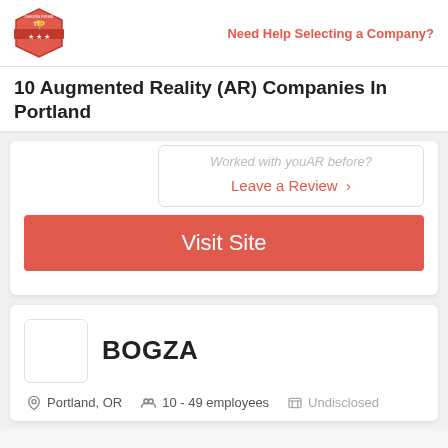Top Design Firms | Need Help Selecting a Company?
10 Augmented Reality (AR) Companies In Portland
Worked with youAR before?
Leave a Review >
Visit Site
BOGZA
Portland, OR  10 - 49 employees  Undisclosed